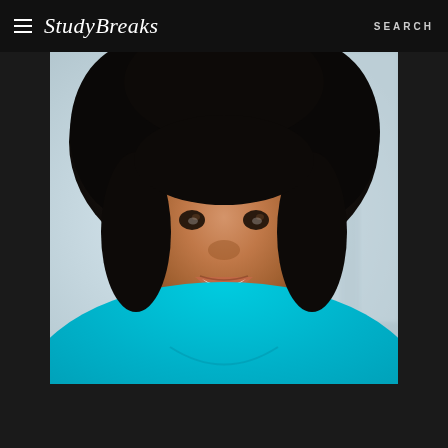Study Breaks  SEARCH
[Figure (photo): Headshot of a smiling young Black woman with a large natural afro hairstyle, wearing a teal/turquoise scoop-neck t-shirt, against a blurred light background. Professional actor or performer headshot.]